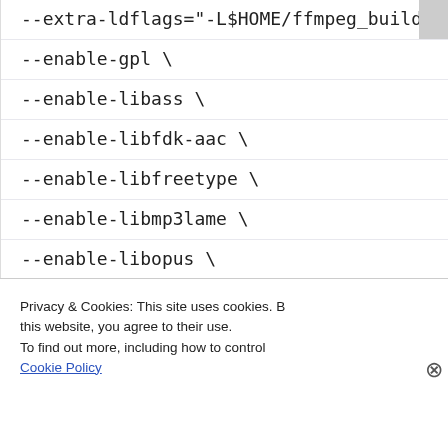--extra-ldflags="-L$HOME/ffmpeg_build/lib" \
--enable-gpl \
--enable-libass \
--enable-libfdk-aac \
--enable-libfreetype \
--enable-libmp3lame \
--enable-libopus \
--enable-libtheora \
--enable-libvorbis \
Privacy & Cookies: This site uses cookies. By continuing to use this website, you agree to their use. To find out more, including how to control cookies, see here: Cookie Policy
Close and accept